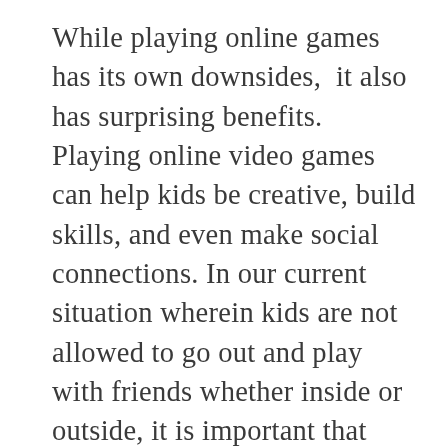While playing online games has its own downsides,  it also has surprising benefits. Playing online video games can help kids be creative, build skills, and even make social connections. In our current situation wherein kids are not allowed to go out and play with friends whether inside or outside, it is important that they have something worthwhile to do while they stay at home. With the proper guidance of parents and with the proper choice of online video games, the kid's screen time will be beneficial. To the parents and guardians, make sure your kids play online video games that are hassle-free. Those that can be quickly played through the browser for...